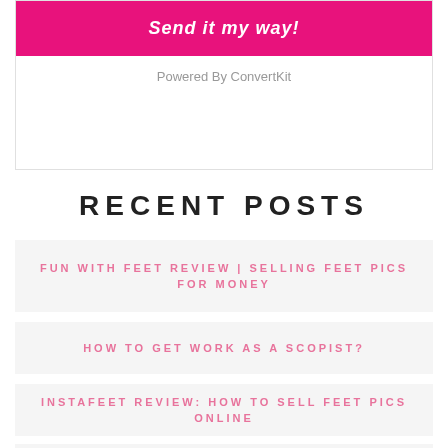[Figure (other): Pink/magenta button labeled 'Send it my way!' inside a white bordered box]
Powered By ConvertKit
RECENT POSTS
FUN WITH FEET REVIEW | SELLING FEET PICS FOR MONEY
HOW TO GET WORK AS A SCOPIST?
INSTAFEET REVIEW: HOW TO SELL FEET PICS ONLINE
WHY ARE TECH SALES JOBS THE